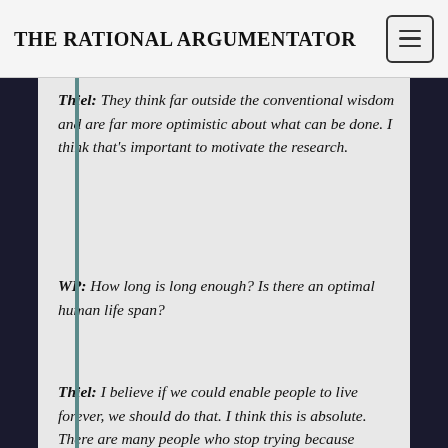THE RATIONAL ARGUMENTATOR
Thiel: They think far outside the conventional wisdom and are far more optimistic about what can be done. I think that's important to motivate the research.
WP: How long is long enough? Is there an optimal human life span?
Thiel: I believe if we could enable people to live forever, we should do that. I think this is absolute. There are many people who stop trying because